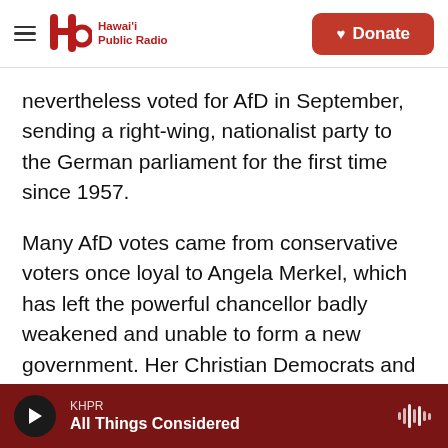Hawai'i Public Radio — Donate
nevertheless voted for AfD in September, sending a right-wing, nationalist party to the German parliament for the first time since 1957.
Many AfD votes came from conservative voters once loyal to Angela Merkel, which has left the powerful chancellor badly weakened and unable to form a new government. Her Christian Democrats and all of the other parties in the new German parliament have pledged to sideline AfD by refusing to partner with it on any issue. But as the third-highest vote-getter in the recent elections, AfD will have a powerful voice, especially if, as expected, it
KHPR — All Things Considered